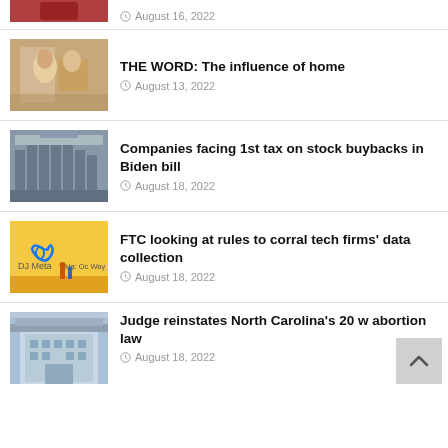August 16, 2022
THE WORD: The influence of home — August 13, 2022
Companies facing 1st tax on stock buybacks in Biden bill — August 18, 2022
FTC looking at rules to corral tech firms' data collection — August 18, 2022
Judge reinstates North Carolina's 20 w abortion law — August 18, 2022